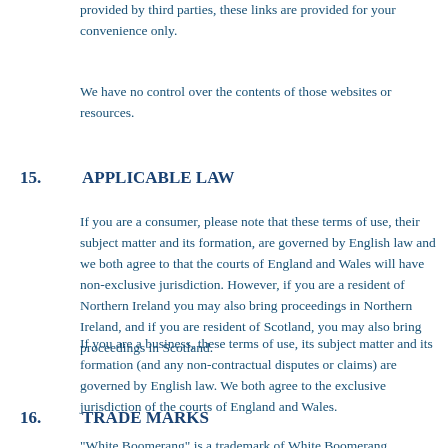provided by third parties, these links are provided for your convenience only.
We have no control over the contents of those websites or resources.
15. APPLICABLE LAW
If you are a consumer, please note that these terms of use, their subject matter and its formation, are governed by English law and we both agree to that the courts of England and Wales will have non-exclusive jurisdiction. However, if you are a resident of Northern Ireland you may also bring proceedings in Northern Ireland, and if you are resident of Scotland, you may also bring proceedings in Scotland.
If you are a business, these terms of use, its subject matter and its formation (and any non-contractual disputes or claims) are governed by English law. We both agree to the exclusive jurisdiction of the courts of England and Wales.
16. TRADE MARKS
"White Boomerang" is a trademark of White Boomerang